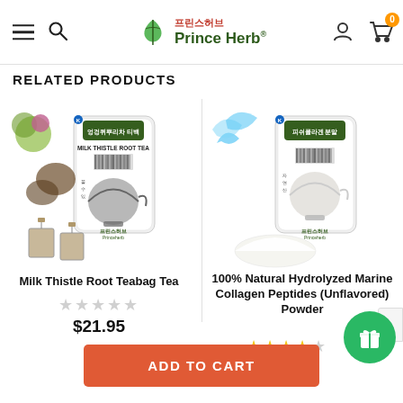Prince Herb — e-commerce navigation header with hamburger menu, search, logo, user account icon, and cart (0 items)
RELATED PRODUCTS
[Figure (photo): Product image: Milk Thistle Root Teabag Tea package with herbs and tea bags displayed]
Milk Thistle Root Teabag Tea
★★★★★ (empty stars)
$21.95
[Figure (photo): Product image: 100% Natural Hydrolyzed Marine Collagen Peptides (Unflavored) Powder package with powder displayed]
100% Natural Hydrolyzed Marine Collagen Peptides (Unflavored) Powder
★★★★☆ (4 stars)
ADD TO CART